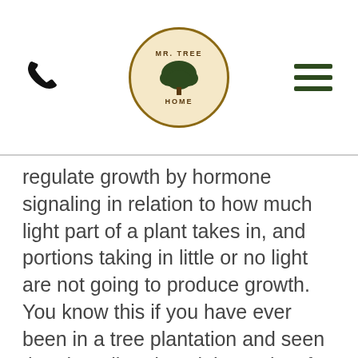MR. TREE HOME [logo with phone icon and hamburger menu]
regulate growth by hormone signaling in relation to how much light part of a plant takes in, and portions taking in little or no light are not going to produce growth. You know this if you have ever been in a tree plantation and seen that the tall and straight trunks of trees don't have lower limbs. This is because shade resulting from close planting